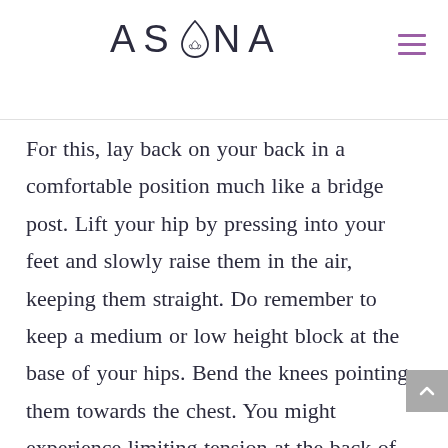ASANA
For this, lay back on your back in a comfortable position much like a bridge post. Lift your hip by pressing into your feet and slowly raise them in the air, keeping them straight. Do remember to keep a medium or low height block at the base of your hips. Bend the knees pointing them towards the chest. You might experience limiting tension at the back of your legs but it will become easier with time. This asana is